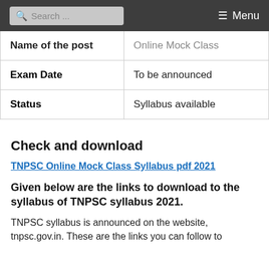Search ... Menu
| Name of the post | Online Mock Class |
| --- | --- |
| Exam Date | To be announced |
| Status | Syllabus available |
Check and download
TNPSC Online Mock Class Syllabus pdf 2021
Given below are the links to download to the syllabus of TNPSC syllabus 2021.
TNPSC syllabus is announced on the website, tnpsc.gov.in. These are the links you can follow to